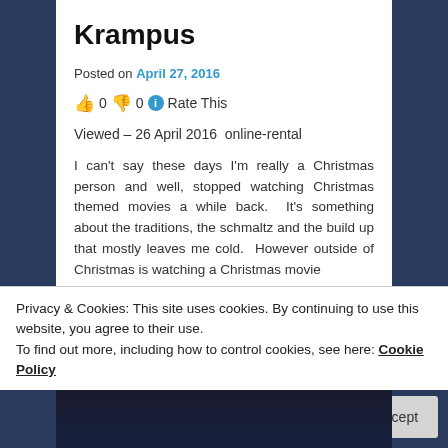Krampus
Posted on April 27, 2016
👍 0 👎 0 ℹ Rate This
Viewed – 26 April 2016  online-rental
I can't say these days I'm really a Christmas person and well, stopped watching Christmas themed movies a while back.  It's something about the traditions, the schmaltz and the build up that mostly leaves me cold.  However outside of Christmas is watching a Christmas movie
Privacy & Cookies: This site uses cookies. By continuing to use this website, you agree to their use.
To find out more, including how to control cookies, see here: Cookie Policy
Close and accept